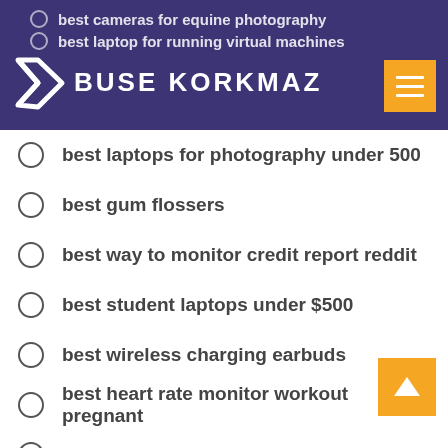BUSE KORKMAZ
best cameras for equine photography
best laptop for running virtual machines
best laptops for photography under 500
best gum flossers
best way to monitor credit report reddit
best student laptops under $500
best wireless charging earbuds
best heart rate monitor workout pregnant
best gaming pc for 500 dollars
best keyboard for samsung
best doorbell camera reddit
best cheap stroller for travel